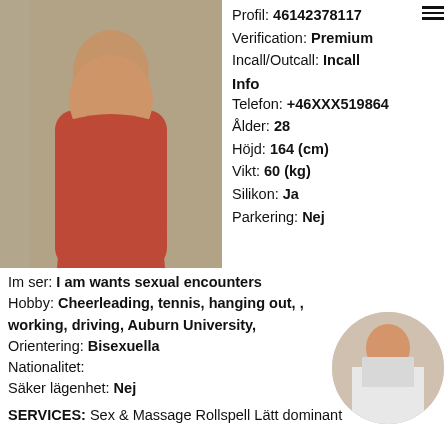[Figure (photo): Woman in red polka dot dress sitting on a wicker chair]
Profil: 46142378117
Verification: Premium
Incall/Outcall: Incall
Info
Telefon: +46XXX519864
Ålder: 28
Höjd: 164 (cm)
Vikt: 60 (kg)
Silikon: Ja
Parkering: Nej
Im ser: I am wants sexual encounters
Hobby: Cheerleading, tennis, hanging out, , working, driving, Auburn University,
Orientering: Bisexuella
Nationalitet:
Säker lägenhet: Nej
[Figure (photo): Woman lifting white top]
SERVICES: Sex & Massage Rollspell Lätt dominant